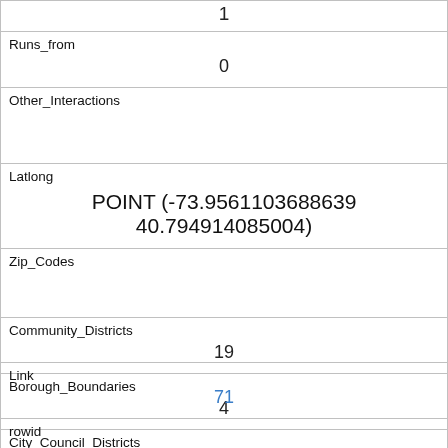| 1 |
| Runs_from | 0 |
| Other_Interactions |  |
| Latlong | POINT (-73.9561103688639 40.794914085004) |
| Zip_Codes |  |
| Community_Districts | 19 |
| Borough_Boundaries | 4 |
| City_Council_Districts | 19 |
| Police_Precincts | 13 |
| Link | 71 |
| rowid |  |